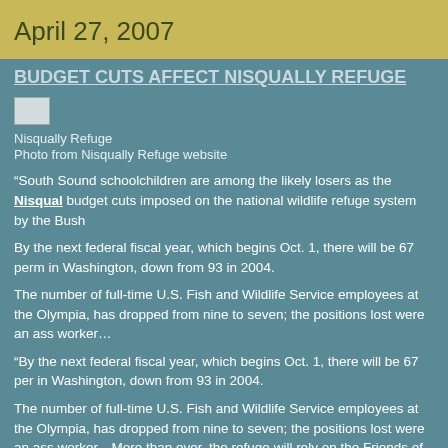April 27, 2007
BUDGET CUTS AFFECT NISQUALLY REFUGE
[Figure (photo): Small image placeholder for Nisqually Refuge photo]
Nisqually Refuge
Photo from Nisqually Refuge website
“South Sound schoolchildren are among the likely losers as the Nisqually budget cuts imposed on the national wildlife refuge system by the Bush
By the next federal fiscal year, which begins Oct. 1, there will be 67 perm in Washington, down from 93 in 2004.
The number of full-time U.S. Fish and Wildlife Service employees at the Olympia, has dropped from nine to seven; the positions lost were an ass worker…
“By the next federal fiscal year, which begins Oct. 1, there will be 67 per in Washington, down from 93 in 2004.
The number of full-time U.S. Fish and Wildlife Service employees at the Olympia, has dropped from nine to seven; the positions lost were an ass worker…More than ever, the refuge will rely on the Friends of the Nisqually to operate the visitors center and help with visitor programs…‘Our nation before our eyes,’ said Rodger Schlickeisen, president of Defenders of W the culmination of years of negligent funding devastates these special p quoting The Olympian.